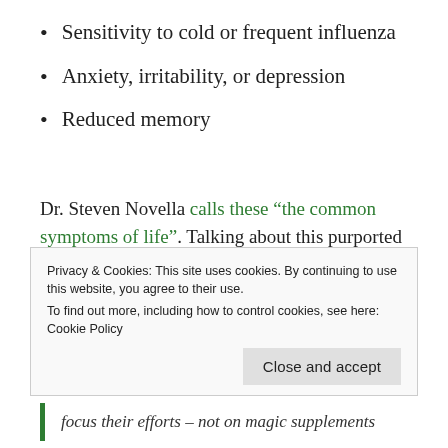Sensitivity to cold or frequent influenza
Anxiety, irritability, or depression
Reduced memory
Dr. Steven Novella calls these “the common symptoms of life”. Talking about this purported adrenal fatigue, Dr. Novella notes:
Some of these people may have a real
Privacy & Cookies: This site uses cookies. By continuing to use this website, you agree to their use. To find out more, including how to control cookies, see here: Cookie Policy
focus their efforts – not on magic supplements